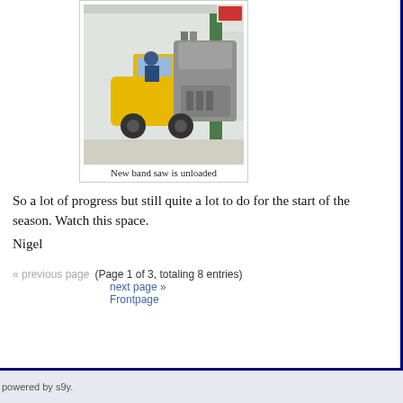[Figure (photo): A yellow forklift carrying a large grey industrial band saw machine outside a building, with a person operating the forklift.]
New band saw is unloaded
So a lot of progress but still quite a lot to do for the start of the season.  Watch this space.
Nigel
« previous page  (Page 1 of 3, totaling 8 entries)
next page »
Frontpage
powered by s9y.